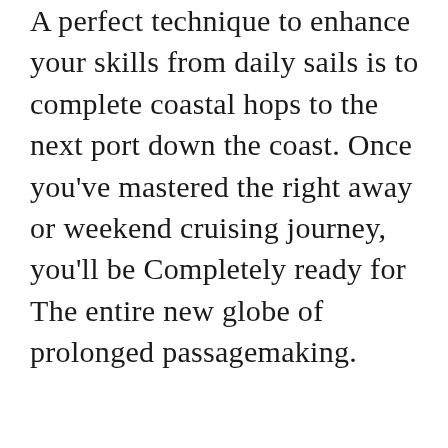A perfect technique to enhance your skills from daily sails is to complete coastal hops to the next port down the coast. Once you've mastered the right away or weekend cruising journey, you'll be Completely ready for The entire new globe of prolonged passagemaking.